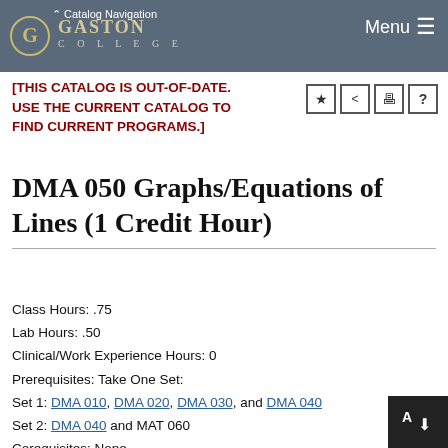Catalog Navigation | GASTON COLLEGE | Menu
[THIS CATALOG IS OUT-OF-DATE. USE THE CURRENT CATALOG TO FIND CURRENT PROGRAMS.]
DMA 050 Graphs/Equations of Lines (1 Credit Hour)
Class Hours: .75
Lab Hours: .50
Clinical/Work Experience Hours: 0
Prerequisites: Take One Set:
Set 1: DMA 010, DMA 020, DMA 030, and DMA 040
Set 2: DMA 040 and MAT 060
Corequisites: None
This course provides a conceptual study of problems involving